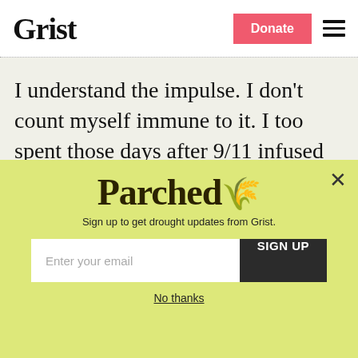Grist | Donate | Menu
I understand the impulse. I don't count myself immune to it. I too spent those days after 9/11 infused with a sense of righteous anger and tribal connection with my fellow Americans. I yearned for something or someone that could express those feelings.
Parched
Sign up to get drought updates from Grist.
Enter your email | SIGN UP
No thanks